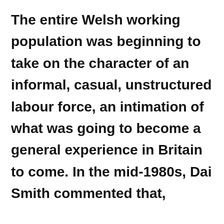The entire Welsh working population was beginning to take on the character of an informal, casual, unstructured labour force, an intimation of what was going to become a general experience in Britain to come. In the mid-1980s, Dai Smith commented that,

The crisis that would in the 1980s affect the vast majority of Welsh people was an